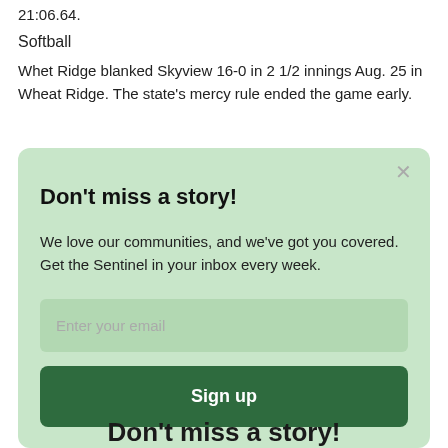21:06.64.
Softball
Whet Ridge blanked Skyview 16-0 in 2 1/2 innings Aug. 25 in Wheat Ridge. The state's mercy rule ended the game early.
Don't miss a story!
We love our communities, and we've got you covered. Get the Sentinel in your inbox every week.
Enter your email
Sign up
Don't miss a story!